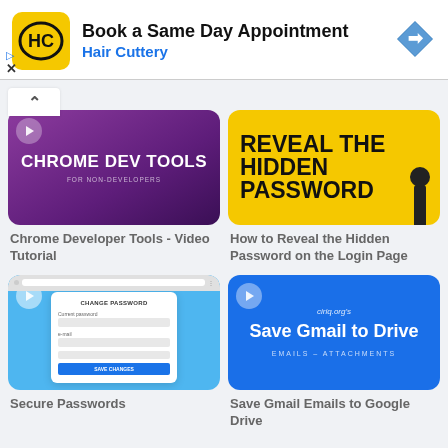[Figure (screenshot): Ad banner for Hair Cuttery: Book a Same Day Appointment with HC logo and navigation arrow icon]
[Figure (screenshot): Chrome Developer Tools - Video Tutorial thumbnail with purple gradient background]
Chrome Developer Tools - Video Tutorial
[Figure (screenshot): How to Reveal the Hidden Password on the Login Page thumbnail with yellow background and bold black text]
How to Reveal the Hidden Password on the Login Page
[Figure (screenshot): Secure Passwords video thumbnail with blue background and form UI]
Secure Passwords
[Figure (screenshot): Save Gmail Emails to Google Drive thumbnail with blue background]
Save Gmail Emails to Google Drive